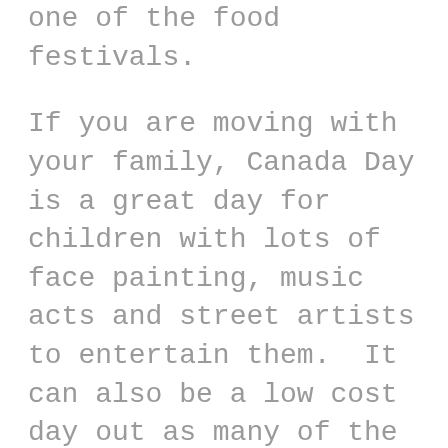one of the food festivals.
If you are moving with your family, Canada Day is a great day for children with lots of face painting, music acts and street artists to entertain them.  It can also be a low cost day out as many of the public events are free to attend and just being in one of the main cities at this time to enjoy the atmosphere is an experience in itself.  Celebrations and activities usually last the whole day and go on well into the evening so be prepared for a long day if you want to experience it all!
Don't forget to dress for the occasion! Maple